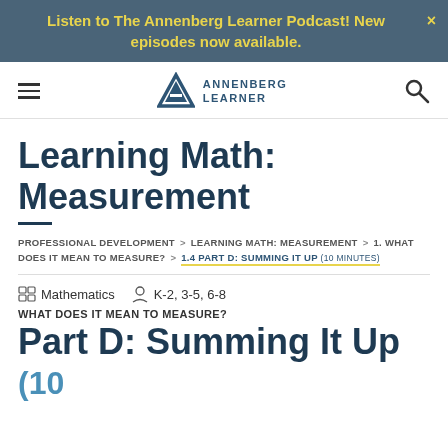Listen to The Annenberg Learner Podcast! New episodes now available.
[Figure (logo): Annenberg Learner logo with triangular A icon and navigation bar with hamburger menu and search icon]
Learning Math: Measurement
PROFESSIONAL DEVELOPMENT > LEARNING MATH: MEASUREMENT > 1. WHAT DOES IT MEAN TO MEASURE? > 1.4 PART D: SUMMING IT UP (10 MINUTES)
Mathematics   K-2, 3-5, 6-8
WHAT DOES IT MEAN TO MEASURE?
Part D: Summing It Up (10